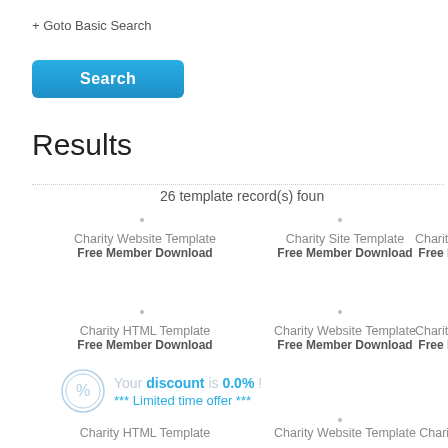+ Goto Basic Search
[Figure (screenshot): Blue Search button with rounded corners]
Results
26 template record(s) found
Charity Website Template
Free Member Download
Charity Site Template
Free Member Download
Charity HTM...
Free Memb...
Charity HTML Template
Free Member Download
Charity Website Template
Free Member Download
Charity HTM...
Free Memb...
Your discount is 0.0% !
*** Limited time offer ***
Charity HTML Template
Charity Website Template
Charity We...